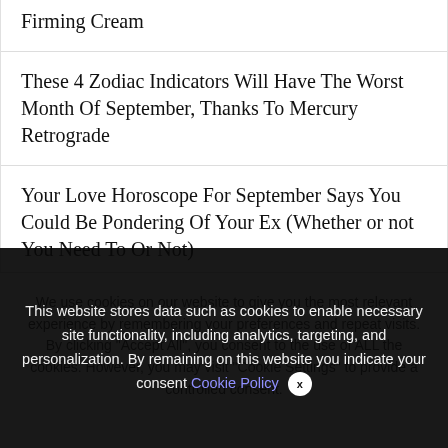Firming Cream
These 4 Zodiac Indicators Will Have The Worst Month Of September, Thanks To Mercury Retrograde
Your Love Horoscope For September Says You Could Be Pondering Of Your Ex (Whether or not You Need To Or Not)
We use cookies on our website to give you the most relevant experience by remembering your preferences and repeat visits. By clicking "Accept All", you consent to the use of ALL the cookies. However, you may visit "Cookie Settings" to provide a controlled consent.
This website stores data such as cookies to enable necessary site functionality, including analytics, targeting, and personalization. By remaining on this website you indicate your consent Cookie Policy ✕